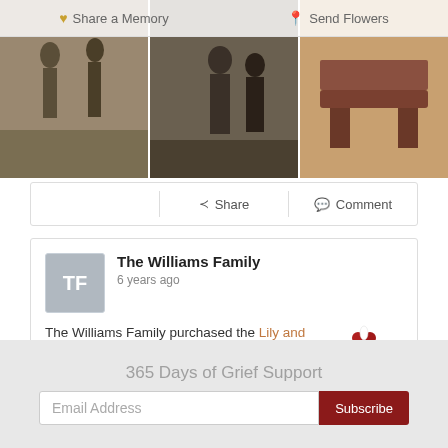[Figure (photo): Three old photographs shown in a horizontal strip at the top, partially visible. Left photo shows people standing outdoors in sepia tone. Middle photo shows people in a dark setting. Right photo shows a reddish/purple toned image of a furniture piece.]
Share a Memory   Send Flowers
Share   Comment
The Williams Family
6 years ago
The Williams Family purchased the Lily and Rose Tribute Spray for the family of Tom F Bebee.
More Memories...
365 Days of Grief Support
Email Address
Subscribe